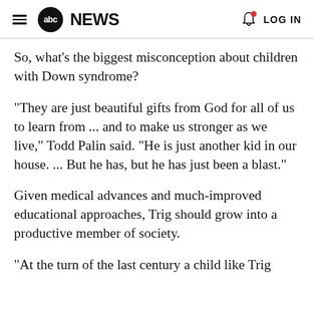abc NEWS   LOG IN
So, what's the biggest misconception about children with Down syndrome?
"They are just beautiful gifts from God for all of us to learn from ... and to make us stronger as we live," Todd Palin said. "He is just another kid in our house. ... But he has, but he has just been a blast."
Given medical advances and much-improved educational approaches, Trig should grow into a productive member of society.
"At the turn of the last century a child like Trig